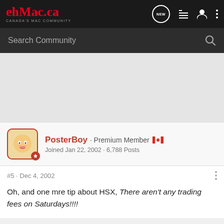ehMac.ca — Canada's Mac Community
Search Community
[Figure (screenshot): Gray advertisement/banner space]
PosterBoy · Premium Member [Canadian flag] Joined Jan 22, 2002 · 6,788 Posts
#5 · Dec 4, 2002
Oh, and one mre tip about HSX, There aren't any trading fees on Saturdays!!!!